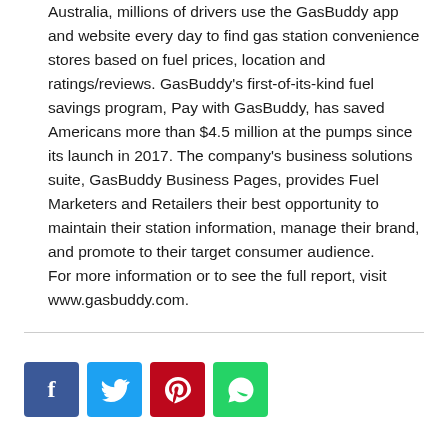Australia, millions of drivers use the GasBuddy app and website every day to find gas station convenience stores based on fuel prices, location and ratings/reviews. GasBuddy’s first-of-its-kind fuel savings program, Pay with GasBuddy, has saved Americans more than $4.5 million at the pumps since its launch in 2017. The company’s business solutions suite, GasBuddy Business Pages, provides Fuel Marketers and Retailers their best opportunity to maintain their station information, manage their brand, and promote to their target consumer audience. For more information or to see the full report, visit www.gasbuddy.com.
[Figure (other): Social media share buttons for Facebook, Twitter, Pinterest, and WhatsApp]